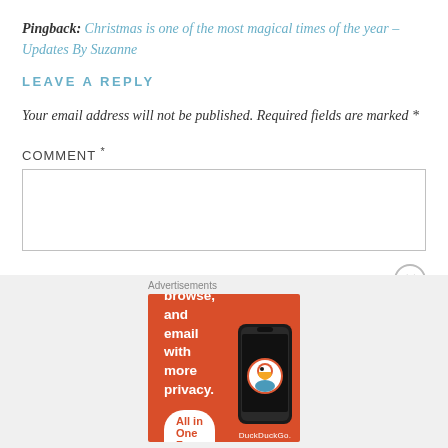Pingback: Christmas is one of the most magical times of the year – Updates By Suzanne
LEAVE A REPLY
Your email address will not be published. Required fields are marked *
COMMENT *
[Figure (screenshot): Empty comment textarea input box with gray border]
[Figure (infographic): DuckDuckGo advertisement banner with orange background. Text: Search, browse, and email with more privacy. All in One Free App. Shows a phone with DuckDuckGo logo.]